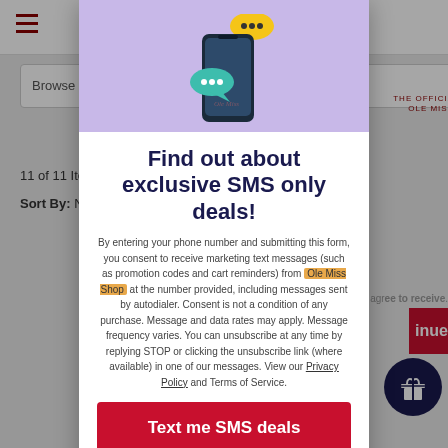[Figure (screenshot): Background website page showing Ole Miss Authentics shop with hamburger menu, search bar reading 'Browse by Age, Gender and...', '11 of 11 Items', 'Sort By: Newest Items', and partial right-side promotional text 'Get 10% off when you... first order...and get... you join.']
[Figure (infographic): Modal popup with purple top section showing smartphone with chat bubble emoji icons (yellow speech bubble with dots, teal speech bubble with dots). Ole Miss Authentics logo visible in purple background area.]
Find out about exclusive SMS only deals!
By entering your phone number and submitting this form, you consent to receive marketing text messages (such as promotion codes and cart reminders) from Ole Miss Shop at the number provided, including messages sent by autodialer. Consent is not a condition of any purchase. Message and data rates may apply. Message frequency varies. You can unsubscribe at any time by replying STOP or clicking the unsubscribe link (where available) in one of our messages. View our Privacy Policy and Terms of Service.
Text me SMS deals